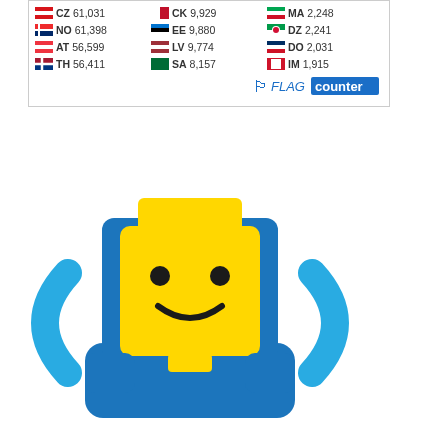[Figure (table-as-image): Flag counter widget showing country codes and visitor counts: CZ 61,031 / CK 9,929 / MA 2,248 / NO 61,398 / EE 9,880 / DZ 2,241 / AT 56,599 / LV 9,774 / DO 2,031 / TH 56,411 / SA 8,157 / IM 1,915 with FLAG counter logo]
[Figure (logo): Recognized LEGO Fan Media logo with LEGO minifigure head graphic in blue and yellow, with text RECOGNIZED LEGO® FAN MEDIA in bold black]
[Figure (infographic): Social media icons row: email/envelope, Facebook, Instagram, Twitter, YouTube]
LEGO® is a trademark of the LEGO Group of companies which does not sponsor, authorize or endorse this site. Copyright of